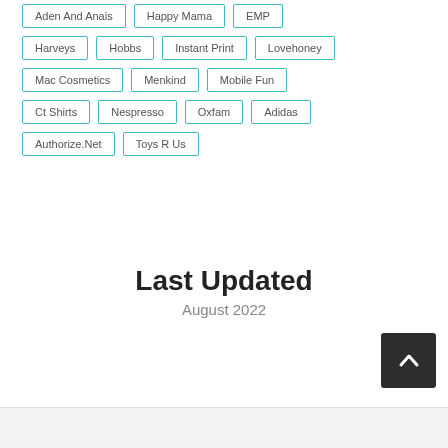Aden And Anais
Happy Mama
EMP
Harveys
Hobbs
Instant Print
Lovehoney
Mac Cosmetics
Menkind
Mobile Fun
Ct Shirts
Nespresso
Oxfam
Adidas
Authorize.Net
Toys R Us
Last Updated
August 2022